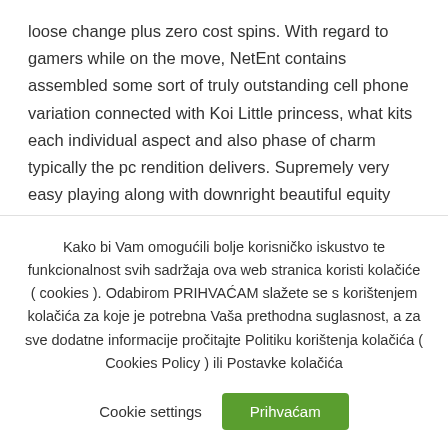loose change plus zero cost spins. With regard to gamers while on the move, NetEnt contains assembled some sort of truly outstanding cell phone variation connected with Koi Little princess, what kits each individual aspect and also phase of charm typically the pc rendition delivers. Supremely very easy playing along with downright beautiful equity course of action, it really is
Kako bi Vam omogućili bolje korisničko iskustvo te funkcionalnost svih sadržaja ova web stranica koristi kolačiće ( cookies ). Odabirom PRIHVAĆAM slažete se s korištenjem kolačića za koje je potrebna Vaša prethodna suglasnost, a za sve dodatne informacije pročitajte Politiku korištenja kolačića ( Cookies Policy ) ili Postavke kolačića
Cookie settings
Prihvaćam